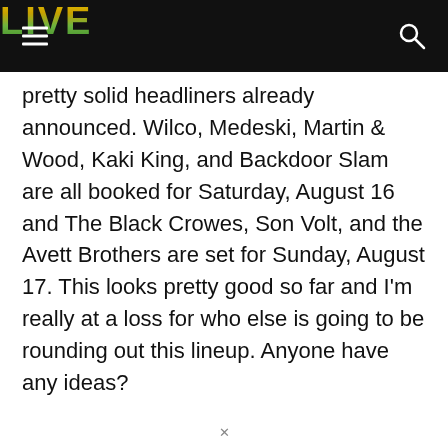LIVE
pretty solid headliners already announced. Wilco, Medeski, Martin & Wood, Kaki King, and Backdoor Slam are all booked for Saturday, August 16 and The Black Crowes, Son Volt, and the Avett Brothers are set for Sunday, August 17. This looks pretty good so far and I'm really at a loss for who else is going to be rounding out this lineup. Anyone have any ideas?
[Figure (other): Advertisement banner (black rectangle) with close button (circled X)]